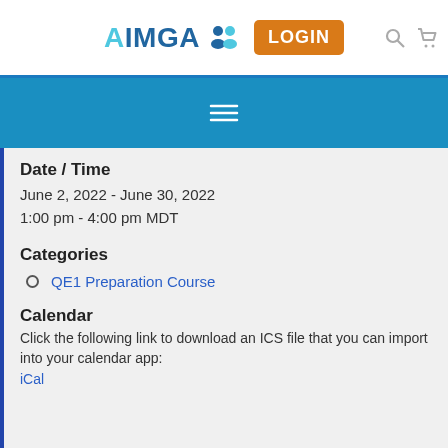[Figure (logo): AIMGA logo with stylized figures icon, LOGIN button in orange, search and cart icons]
[Figure (other): Blue navigation bar with hamburger menu icon]
Date / Time
June 2, 2022 - June 30, 2022
1:00 pm - 4:00 pm MDT
Categories
QE1 Preparation Course
Calendar
Click the following link to download an ICS file that you can import into your calendar app:
iCal